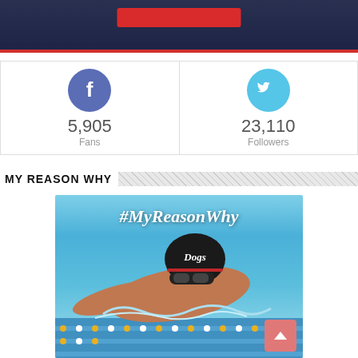[Figure (screenshot): Top partial screenshot showing a dark background with a red button element]
[Figure (infographic): Social media stats panel showing Facebook 5,905 Fans and Twitter 23,110 Followers]
MY REASON WHY
[Figure (photo): Photo of a swimmer in a pool wearing a black Dogs swim cap with goggles, hashtag #MyReasonWhy text overlay]